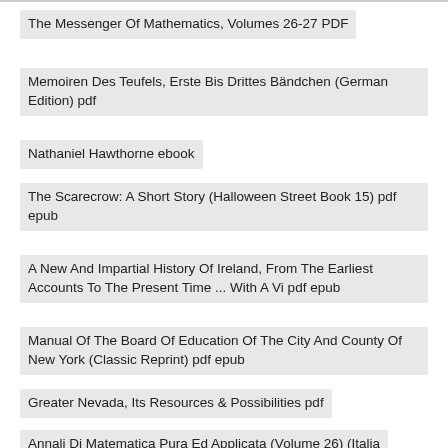The Messenger Of Mathematics, Volumes 26-27 PDF
Memoiren Des Teufels, Erste Bis Drittes Bändchen (German Edition) pdf
Nathaniel Hawthorne ebook
The Scarecrow: A Short Story (Halloween Street Book 15) pdf epub
A New And Impartial History Of Ireland, From The Earliest Accounts To The Present Time ... With A Vi pdf epub
Manual Of The Board Of Education Of The City And County Of New York (Classic Reprint) pdf epub
Greater Nevada, Its Resources & Possibilities pdf
M. Terenti Varronis De Vita Populi Romani Ad Q. Caecilium Pomponianum Atticum Librorum Quattuor Quæ PDF
Annali Di Matematica Pura Ed Applicata (Volume 26) (Italia...